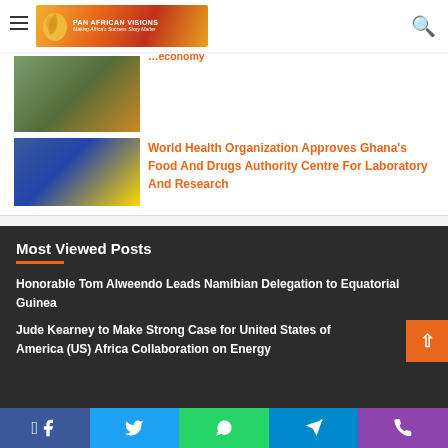Pan African Visions — Making Africa's Success Story Matter
World Health Organization Approves Ghana's Food And Drugs Authority Centre For Laboratory And Research
Most Viewed Posts
Honorable Tom Alweendo Leads Namibian Delegation to Equatorial Guinea
Jude Kearney to Make Strong Case for United States of America (US) Africa Collaboration on Energy